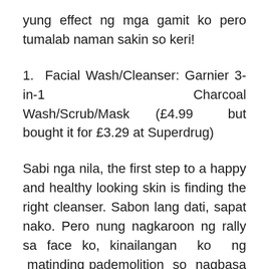yung effect ng mga gamit ko pero tumalab naman sakin so keri!
1.  Facial Wash/Cleanser: Garnier 3-in-1 Charcoal Wash/Scrub/Mask (£4.99 but bought it for £3.29 at Superdrug)
Sabi nga nila, the first step to a happy and healthy looking skin is finding the right cleanser. Sabon lang dati, sapat nako. Pero nung nagkaroon ng rally sa face ko, kinailangan ko ng matinding pademolition so nagbasa basa ako, kelangan daw talaga ng proper facial cleanser para todo